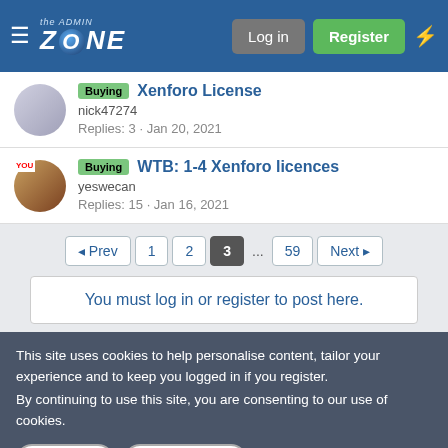the ADMIN ZONE — Log in | Register
Buying Xenforo License
nick47274
Replies: 3 · Jan 20, 2021
Buying WTB: 1-4 Xenforo licences
yeswecan
Replies: 15 · Jan 16, 2021
◄ Prev  1  2  3  ...  59  Next ►
You must log in or register to post here.
This site uses cookies to help personalise content, tailor your experience and to keep you logged in if you register.
By continuing to use this site, you are consenting to our use of cookies.